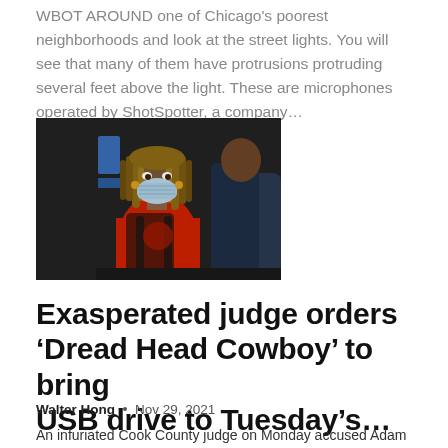WBOT AROUND one of Chicago's poorest neighborhoods and look at the street lights. You will see that many of them have protrusions protruding several feet above the light. These are microphones operated by ShotSpotter, a company…
[Figure (photo): A person wearing a red hoodie and blue surgical mask with dreadlocks, carrying a backpack, standing in front of a dark storefront. Another person in a dark jacket is partially visible behind them.]
Exasperated judge orders ‘Dread Head Cowboy’ to bring USB drive to Tuesday’s…
Walter Hong • Nov 29, 2021
An infuriated Cook County judge on Monday accused Adam Hollingsworth, better known as "Dread Head Cowboy" of…